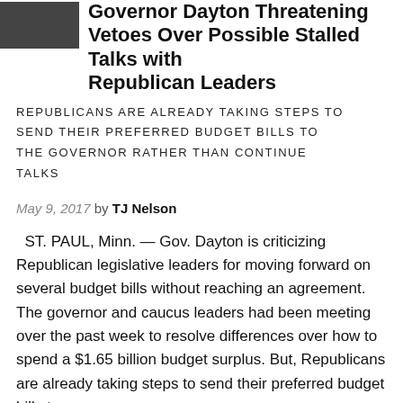[Figure (photo): Small thumbnail photo of people, partially visible at top left]
Governor Dayton Threatening Vetoes Over Possible Stalled Talks with Republican Leaders
REPUBLICANS ARE ALREADY TAKING STEPS TO SEND THEIR PREFERRED BUDGET BILLS TO THE GOVERNOR RATHER THAN CONTINUE TALKS
May 9, 2017 by TJ Nelson
ST. PAUL, Minn. — Gov. Dayton is criticizing Republican legislative leaders for moving forward on several budget bills without reaching an agreement. The governor and caucus leaders had been meeting over the past week to resolve differences over how to spend a $1.65 billion budget surplus. But, Republicans are already taking steps to send their preferred budget bills to…